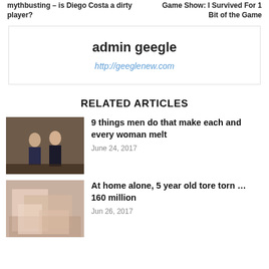mythbusting – is Diego Costa a dirty player?  |  Game Show: I Survived…
admin geegle
http://geeglenew.com
RELATED ARTICLES
9 things men do that make each and every woman melt
June 24, 2017
At home alone, 5 year old tore torn … 160 million
Jun 26, 2017